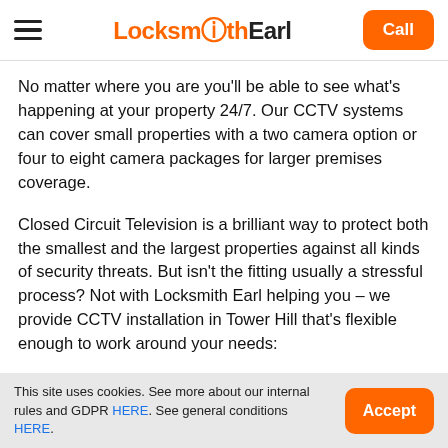Locksmith Earl | Call
No matter where you are you'll be able to see what's happening at your property 24/7. Our CCTV systems can cover small properties with a two camera option or four to eight camera packages for larger premises coverage.
Closed Circuit Television is a brilliant way to protect both the smallest and the largest properties against all kinds of security threats. But isn't the fitting usually a stressful process? Not with Locksmith Earl helping you – we provide CCTV installation in Tower Hill that's flexible enough to work around your needs:
This site uses cookies. See more about our internal rules and GDPR HERE. See general conditions HERE. | Accept